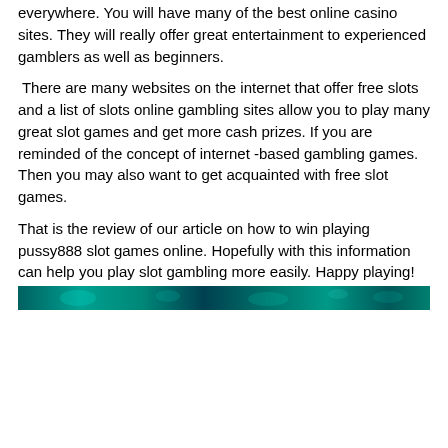everywhere. You will have many of the best online casino sites. They will really offer great entertainment to experienced gamblers as well as beginners.
There are many websites on the internet that offer free slots and a list of slots online gambling sites allow you to play many great slot games and get more cash prizes. If you are reminded of the concept of internet -based gambling games. Then you may also want to get acquainted with free slot games.
That is the review of our article on how to win playing pussy888 slot games online. Hopefully with this information can help you play slot gambling more easily. Happy playing!
[Figure (photo): A narrow strip of a colorful casino/slot machine themed image with teal and green colors at the bottom of the content area]